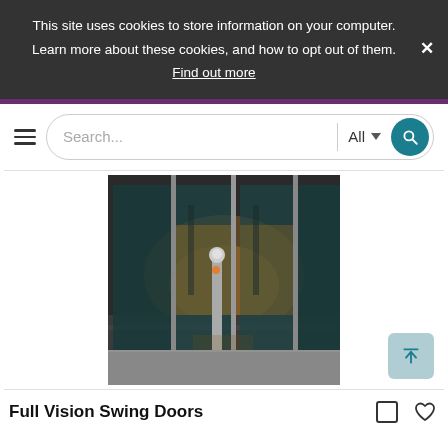This site uses cookies to store information on your computer. Learn more about these cookies, and how to opt out of them. Find out more
[Figure (screenshot): Website navigation bar with hamburger menu icon and search box with 'Search...' placeholder, 'All' category dropdown, and teal search button]
[Figure (photo): Glass revolving swing doors of a commercial building at night, with warm interior lighting visible through the glass panels and a metal bollard in the foreground]
Full Vision Swing Doors